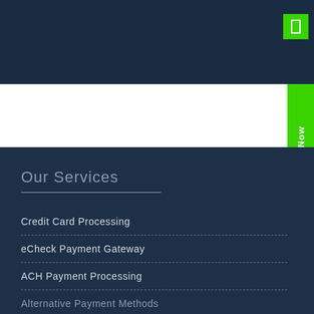[Figure (other): Dark navy blue header background with green icon button in top right corner]
Our Services
Credit Card Processing
eCheck Payment Gateway
ACH Payment Processing
Alternative Payment Methods